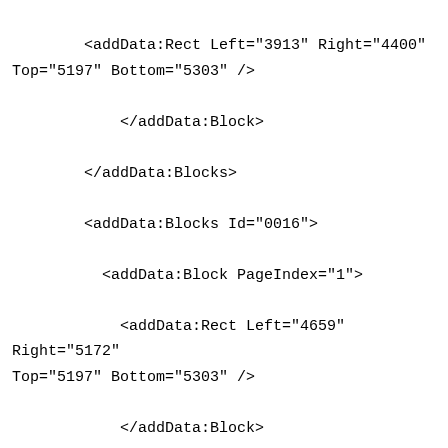<addData:Rect Left="3913" Right="4400" Top="5197" Bottom="5303" />

            </addData:Block>

        </addData:Blocks>

        <addData:Blocks Id="0016">

          <addData:Block PageIndex="1">

            <addData:Rect Left="4659" Right="5172" Top="5197" Bottom="5303" />

            </addData:Block>

        </addData:Blocks>

    </addData:BlocksInfo>

  </addData:AdditionalInfo>

</_PRBS:_PRBS>

</form:Documents>